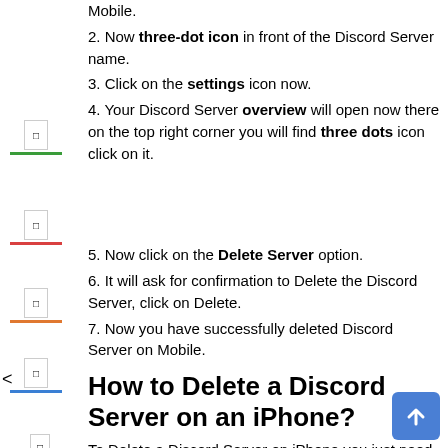Mobile.
2. Now three-dot icon in front of the Discord Server name.
3. Click on the settings icon now.
4. Your Discord Server overview will open now there on the top right corner you will find three dots icon click on it.
5. Now click on the Delete Server option.
6. It will ask for confirmation to Delete the Discord Server, click on Delete.
7. Now you have successfully deleted Discord Server on Mobile.
How to Delete a Discord Server on an iPhone?
To Delete a Discord Server on iPhone you just need to follow step-by-step instructions mentioned below with visuals to make you much clear about the steps to delete a discord server.